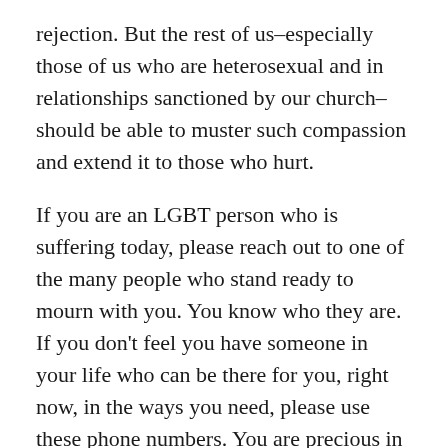rejection. But the rest of us–especially those of us who are heterosexual and in relationships sanctioned by our church–should be able to muster such compassion and extend it to those who hurt.
If you are an LGBT person who is suffering today, please reach out to one of the many people who stand ready to mourn with you. You know who they are. If you don't feel you have someone in your life who can be there for you, right now, in the ways you need, please use these phone numbers. You are precious in God's eyes.
National Suicide Prevention Lifeline: (800) 273-8255